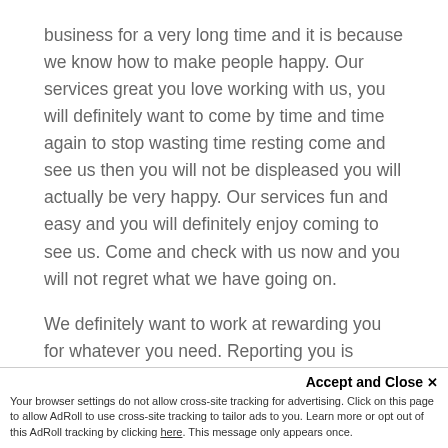business for a very long time and it is because we know how to make people happy. Our services great you love working with us, you will definitely want to come by time and time again to stop wasting time resting come and see us then you will not be displeased you will actually be very happy. Our services fun and easy and you will definitely enjoy coming to see us. Come and check with us now and you will not regret what we have going on.
We definitely want to work at rewarding you for whatever you need. Reporting you is important because we want you to know that you have won. When you are winning is important to give yourself that pound the back sometimes of the you know that you are making progress but we do want to put to my so you take are for able come work and...
Accept and Close x
Your browser settings do not allow cross-site tracking for advertising. Click on this page to allow AdRoll to use cross-site tracking to tailor ads to you. Learn more or opt out of this AdRoll tracking by clicking here. This message only appears once.